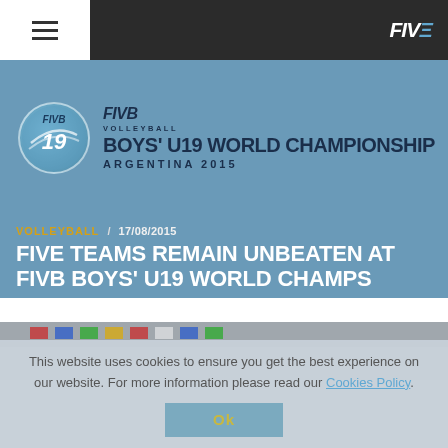FIVB — Navigation bar with hamburger menu and FIVB logo
[Figure (logo): FIVB Boys U19 World Championship Argentina 2015 logo with circular emblem]
VOLLEYBALL  17/08/2015
FIVE TEAMS REMAIN UNBEATEN AT FIVB BOYS' U19 WORLD CHAMPS
[Figure (photo): Partial photo of volleyball championship arena with flags]
This website uses cookies to ensure you get the best experience on our website. For more information please read our Cookies Policy.
Ok